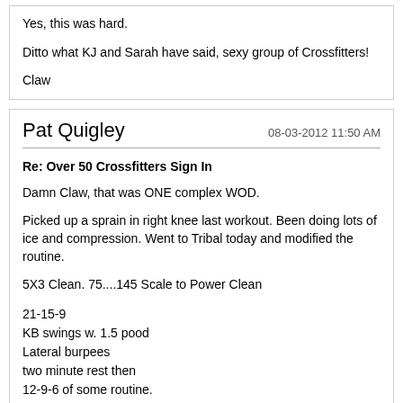Yes, this was hard.

Ditto what KJ and Sarah have said, sexy group of Crossfitters!

Claw
Pat Quigley  08-03-2012 11:50 AM
Re: Over 50 Crossfitters Sign In

Damn Claw, that was ONE complex WOD.

Picked up a sprain in right knee last workout. Been doing lots of ice and compression. Went to Tribal today and modified the routine.

5X3 Clean. 75....145 Scale to Power Clean

21-15-9
KB swings w. 1.5 pood
Lateral burpees
two minute rest then
12-9-6 of some routine.

Scale Single leg deadlift w. prescribed weight.
12:46.